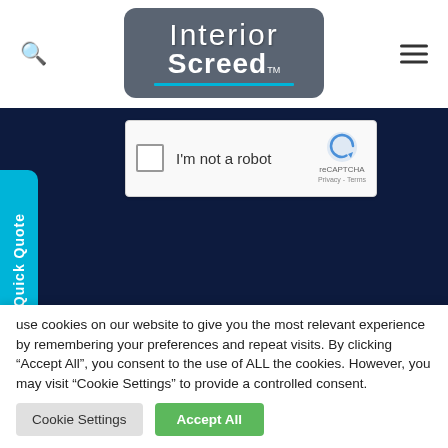[Figure (logo): Interior Screed logo with grey rounded rectangle background and blue underline]
[Figure (screenshot): reCAPTCHA widget with checkbox and 'I'm not a robot' label]
[Figure (other): Quick Quote vertical tab in cyan/blue on left side]
rior Screed Ltd are the UK's leading floor
use cookies on our website to give you the most relevant experience by remembering your preferences and repeat visits. By clicking "Accept All", you consent to the use of ALL the cookies. However, you may visit "Cookie Settings" to provide a controlled consent.
Cookie Settings
Accept All